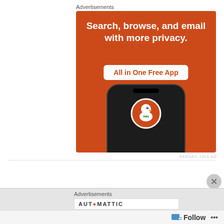Advertisements
[Figure (illustration): DuckDuckGo advertisement banner on orange background showing a smartphone with the DuckDuckGo duck logo. Text reads: 'Search, browse, and email with more privacy. All in One Free App'. DuckDuckGo logo and name displayed on phone screen.]
REPORT THIS AD
Advertisements
AUTOMATTIC
Follow
···